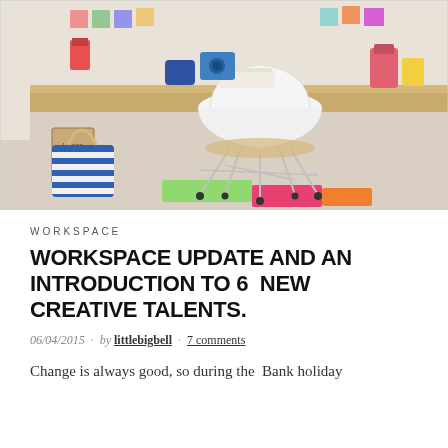[Figure (photo): A bright workspace with a wooden desk, a white Eames-style chair with metal legs, a blue and white striped tote bag on the floor, colorful items on the desk, a stack of paper bags under the desk with French text, and a colorful striped rug on a light wood floor.]
WORKSPACE
WORKSPACE UPDATE AND AN INTRODUCTION TO 6  NEW CREATIVE TALENTS.
06/04/2015 · by littlebigbell · 7 comments
Change is always good, so during the  Bank holiday